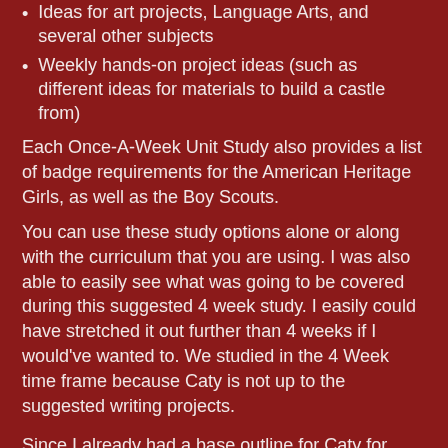Ideas for art projects, Language Arts, and several other subjects
Weekly hands-on project ideas (such as different ideas for materials to build a castle from)
Each Once-A-Week Unit Study also provides a list of badge requirements for the American Heritage Girls, as well as the Boy Scouts.
You can use these study options alone or along with the curriculum that you are using.  I was also able to easily see what was going to be covered during this suggested 4 week study.  I easily could have stretched it out further than 4 weeks if I would've wanted to.  We studied in the 4 Week time frame because Caty is not up to the suggested writing projects.
Since I already had a base outline for Caty for school planned out, I easily was able to slide the Knights and Nobles Once-A-Week Unit Study right into her lesson plan.